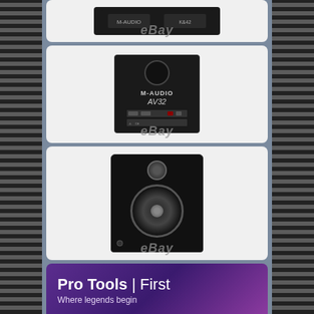[Figure (photo): M-Audio AV32 studio monitor speaker product photo, partial top view showing the top/front of the unit with eBay watermark]
[Figure (photo): M-Audio AV32 studio monitor speaker rear panel showing ports, brand name M-AUDIO and model AV32, with eBay watermark]
[Figure (photo): M-Audio AV32 studio monitor speaker front view showing tweeter and woofer drivers, black finish, with eBay watermark]
[Figure (photo): Pro Tools First banner with purple gradient background, text reads 'Pro Tools | First' and subtitle 'Where legends begin']